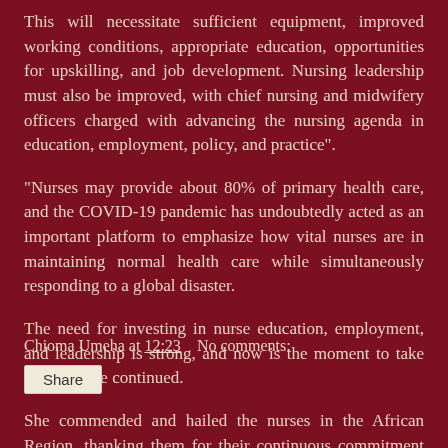This will necessitate sufficient equipment, improved working conditions, appropriate education, opportunities for upskilling, and job development. Nursing leadership must also be improved, with chief nursing and midwifery officers charged with advancing the nursing agenda in education, employment, policy, and practice".
"Nurses may provide about 80% of primary health care, and the COVID-19 pandemic has undoubtedly acted as an important platform to emphasize how vital nurses are in maintaining normal health care while simultaneously responding to a global disaster.
The need for investing in nurse education, employment, and leadership is strong, and now is the moment to take action ", she continued.
She commended and hailed the nurses in the African Region, thanking them for their continuous commitment to fighting the COVID-19 pandemic.
Chioma Umeha at 12:23   No comments: